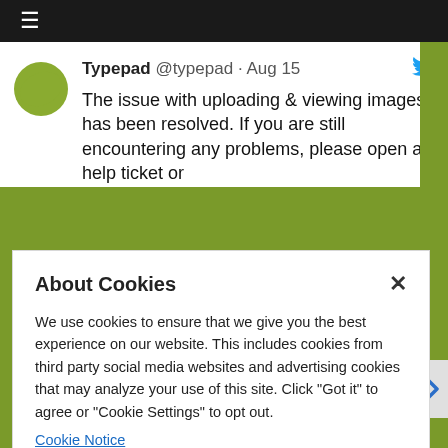[Figure (screenshot): Top black navigation bar with hamburger menu icon]
[Figure (screenshot): Typepad tweet snippet showing avatar, handle @typepad, Aug 15 date, Twitter bird icon, and tweet text about uploading & viewing images issue resolved]
About Cookies
We use cookies to ensure that we give you the best experience on our website. This includes cookies from third party social media websites and advertising cookies that may analyze your use of this site. Click "Got it" to agree or "Cookie Settings" to opt out.
Cookie Notice
Got It
Cookies Settings